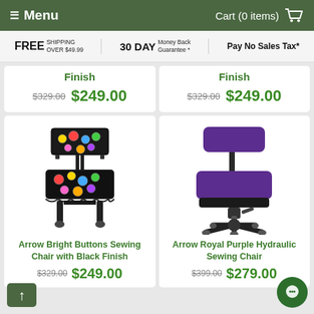≡ Menu   Cart (0 items)
FREE SHIPPING OVER $49.99   30 DAY Money Back Guarantee *   Pay No Sales Tax*
Finish   $329.00   $249.00
Finish   $329.00   $249.00
[Figure (photo): Arrow Bright Buttons Sewing Chair with Black Finish - black frame chair with colorful buttons patterned fabric on seat and backrest]
Arrow Bright Buttons Sewing Chair with Black Finish
$329.00   $249.00
[Figure (photo): Arrow Royal Purple Hydraulic Sewing Chair - office-style chair with purple upholstery and black five-star base with casters]
Arrow Royal Purple Hydraulic Sewing Chair
$399.00   $279.00